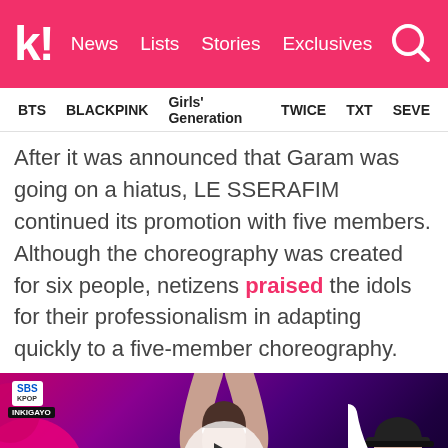k! News Lists Stories Exclusives
BTS  BLACKPINK  Girls' Generation  TWICE  TXT  SEVE
After it was announced that Garam was going on a hiatus, LE SSERAFIM continued its promotion with five members. Although the choreography was created for six people, netizens praised the idols for their professionalism in adapting quickly to a five-member choreography.
[Figure (screenshot): Video thumbnail showing LE SSERAFIM performing on SBS Inkigayo stage with two performers visible, large white SSERAFIM text in background, pink/purple backdrop, and a play button overlay in the center]